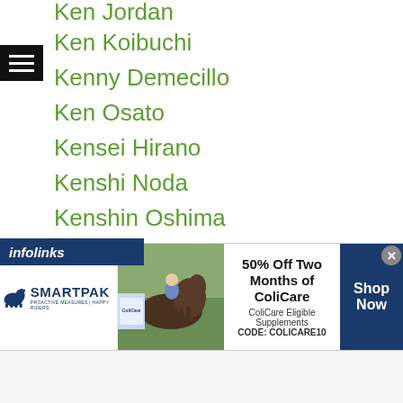Ken Jordan
Ken Koibuchi
Kenny Demecillo
Ken Osato
Kensei Hirano
Kenshi Noda
Kenshin Oshima
Kenshiro
Ken Shiro
Kenshiro Teraji
Kensuke Fujita
Kenta
Kenta Endo
Kenta Matsui
Kenta Nakagawa
Kenta Nomura
Kenta Okumura
[Figure (screenshot): SmartPak advertisement banner: 50% Off Two Months of ColiCare, ColiCare Eligible Supplements, CODE: COLICARE10, Shop Now button]